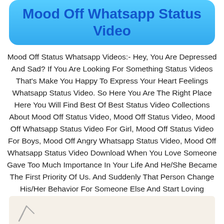Mood Off Whatsapp Status Video
Mood Off Status Whatsapp Videos:- Hey, You Are Depressed And Sad? If You Are Looking For Something Status Videos That's Make You Happy To Express Your Heart Feelings Whatsapp Status Video. So Here You Are The Right Place Here You Will Find Best Of Best Status Video Collections About Mood Off Status Video, Mood Off Status Video, Mood Off Whatsapp Status Video For Girl, Mood Off Status Video For Boys, Mood Off Angry Whatsapp Status Video, Mood Off Whatsapp Status Video Download When You Love Someone Gave Too Much Importance In Your Life And He/She Became The First Priority Of Us. And Suddenly That Person Change His/Her Behavior For Someone Else And Start Loving Someone Else That Pain Is Enough To Die We Can Fill The Pain.
[Figure (photo): Partial image visible at the bottom of the page, appears to show a figure or illustration on a light beige/tan background]